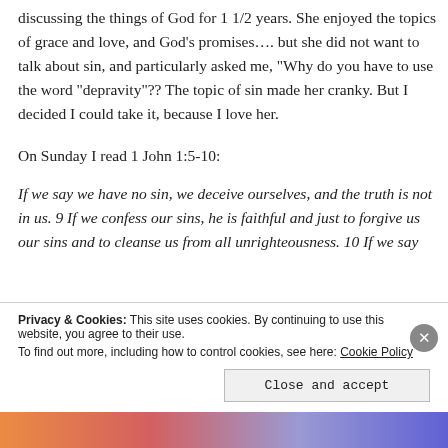discussing the things of God for 1 1/2 years. She enjoyed the topics of grace and love, and God’s promises…. but she did not want to talk about sin, and particularly asked me, “Why do you have to use the word “depravity”?? The topic of sin made her cranky. But I decided I could take it, because I love her.
On Sunday I read 1 John 1:5-10:
If we say we have no sin, we deceive ourselves, and the truth is not in us. 9 If we confess our sins, he is faithful and just to forgive us our sins and to cleanse us from all unrighteousness. 10 If we say
Privacy & Cookies: This site uses cookies. By continuing to use this website, you agree to their use.
To find out more, including how to control cookies, see here: Cookie Policy
Close and accept